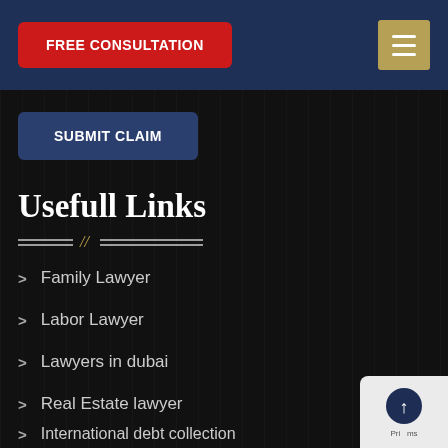FREE CONSULTATION
SUBMIT CLAIM
Usefull Links
Family Lawyer
Labor Lawyer
Lawyers in dubai
Real Estate lawyer
International debt collection